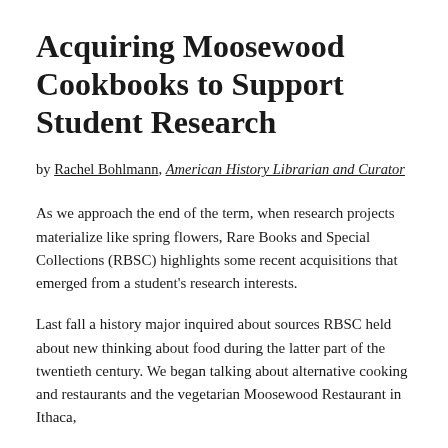Acquiring Moosewood Cookbooks to Support Student Research
by Rachel Bohlmann, American History Librarian and Curator
As we approach the end of the term, when research projects materialize like spring flowers, Rare Books and Special Collections (RBSC) highlights some recent acquisitions that emerged from a student's research interests.
Last fall a history major inquired about sources RBSC held about new thinking about food during the latter part of the twentieth century. We began talking about alternative cooking and restaurants and the vegetarian Moosewood Restaurant in Ithaca,